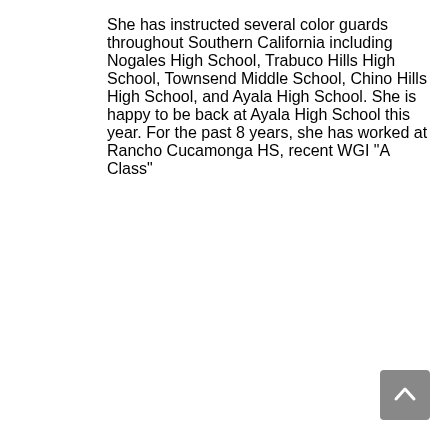She has instructed several color guards throughout Southern California including Nogales High School, Trabuco Hills High School, Townsend Middle School, Chino Hills High School, and Ayala High School. She is happy to be back at Ayala High School this year. For the past 8 years, she has worked at Rancho Cucamonga HS, recent WGI "A Class"